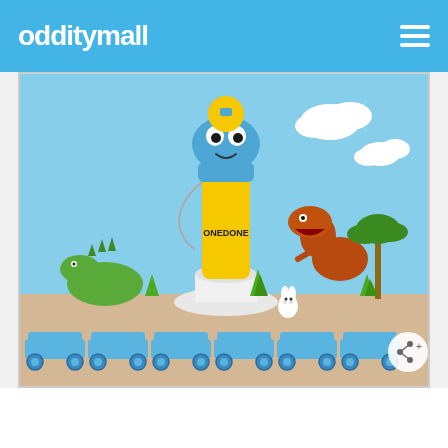odditymall
[Figure (photo): Product photo of a dinosaur-themed children's water bottle (ONEDONE brand) with a blue dinosaur head cap and yellow body, surrounded by toy dinosaurs, a toy bunny, blue LEGO-style building block train pieces, and green plants on a light wood surface with a light blue sky background and white clouds. A share button is visible in the bottom right corner of the image.]